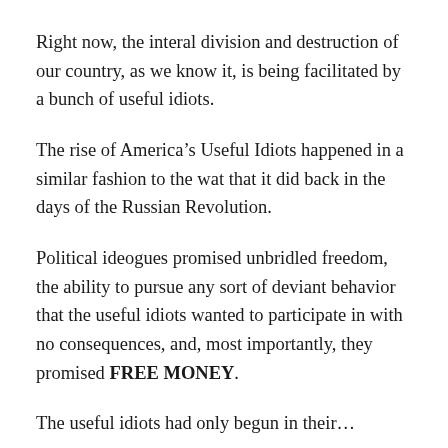Right now, the interal division and destruction of our country, as we know it, is being facilitated by a bunch of useful idiots.
The rise of America’s Useful Idiots happened in a similar fashion to the wat that it did back in the days of the Russian Revolution.
Political ideogues promised unbridled freedom, the ability to pursue any sort of deviant behavior that the useful idiots wanted to participate in with no consequences, and, most importantly, they promised FREE MONEY.
The useful idiots had only begun in their…